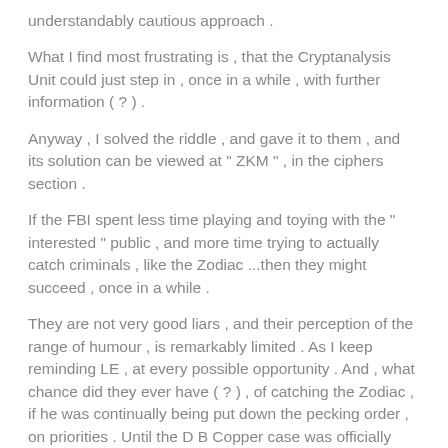understandably cautious approach .
What I find most frustrating is , that the Cryptanalysis Unit could just step in , once in a while , with further information ( ? ) .
Anyway , I solved the riddle , and gave it to them , and its solution can be viewed at " ZKM " , in the ciphers section .
If the FBI spent less time playing and toying with the " interested " public , and more time trying to actually catch criminals , like the Zodiac ...then they might succeed , once in a while .
They are not very good liars , and their perception of the range of humour , is remarkably limited . As I keep reminding LE , at every possible opportunity . And , what chance did they ever have ( ? ) , of catching the Zodiac , if he was continually being put down the pecking order , on priorities . Until the D B Copper case was officially closed down , four years ago , the FBI had at least one person working on the case , from the start . Simply no evidence that the Zodiac case warranted the same attention .